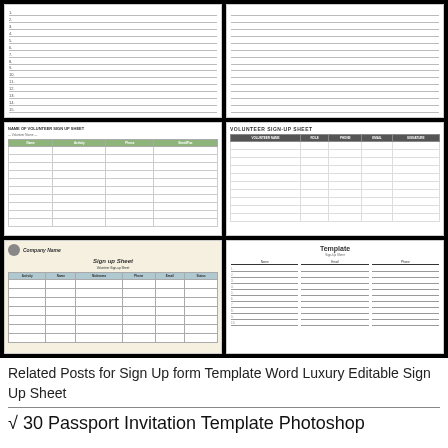[Figure (screenshot): Grid of 6 sign-up sheet template thumbnails on black background: lined sheets, volunteer sign-up sheets, company sign-up form, and a template with columns]
Related Posts for Sign Up form Template Word Luxury Editable Sign Up Sheet
√ 30 Passport Invitation Template Photoshop